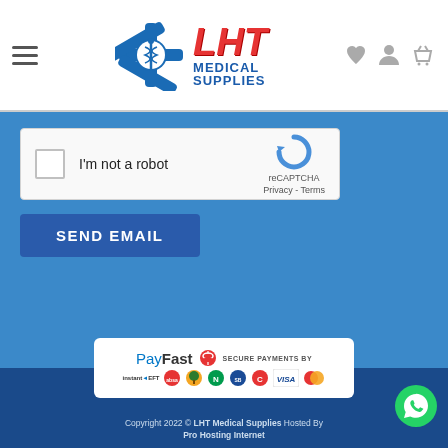[Figure (logo): LHT Medical Supplies logo with blue star of life symbol and red/blue LHT text and medical supplies text]
[Figure (screenshot): reCAPTCHA widget with checkbox labeled I'm not a robot]
SEND EMAIL
[Figure (logo): PayFast Secure Payments badge with payment method logos including instantEFT, ABSA, Nedbank, Standard Bank, VISA, Mastercard]
Copyright 2022 © LHT Medical Supplies Hosted By Pro Hosting Internet